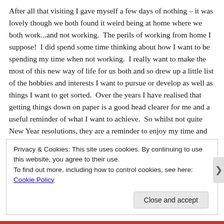After all that visiting I gave myself a few days of nothing – it was lovely though we both found it weird being at home where we both work...and not working.  The perils of working from home I suppose!  I did spend some time thinking about how I want to be spending my time when not working.  I really want to make the most of this new way of life for us both and so drew up a little list of the hobbies and interests I want to pursue or develop as well as things I want to get sorted.  Over the years I have realised that getting things down on paper is a good head clearer for me and a useful reminder of what I want to achieve.  So whilst not quite New Year resolutions, they are a reminder to enjoy my time and spend it wisely.
Privacy & Cookies: This site uses cookies. By continuing to use this website, you agree to their use.
To find out more, including how to control cookies, see here: Cookie Policy
Close and accept